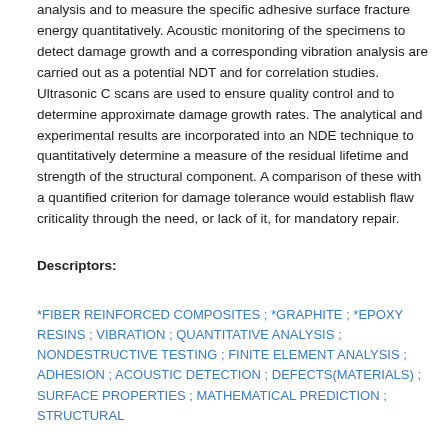analysis and to measure the specific adhesive surface fracture energy quantitatively. Acoustic monitoring of the specimens to detect damage growth and a corresponding vibration analysis are carried out as a potential NDT and for correlation studies. Ultrasonic C scans are used to ensure quality control and to determine approximate damage growth rates. The analytical and experimental results are incorporated into an NDE technique to quantitatively determine a measure of the residual lifetime and strength of the structural component. A comparison of these with a quantified criterion for damage tolerance would establish flaw criticality through the need, or lack of it, for mandatory repair.
Descriptors:
*FIBER REINFORCED COMPOSITES ; *GRAPHITE ; *EPOXY RESINS ; VIBRATION ; QUANTITATIVE ANALYSIS ; NONDESTRUCTIVE TESTING ; FINITE ELEMENT ANALYSIS ; ADHESION ; ACOUSTIC DETECTION ; DEFECTS(MATERIALS) ; SURFACE PROPERTIES ; MATHEMATICAL PREDICTION ; STRUCTURAL